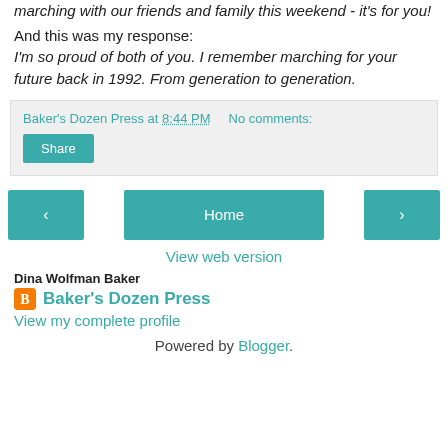marching with our friends and family this weekend - it's for you!
And this was my response:
I'm so proud of both of you. I remember marching for your future back in 1992. From generation to generation.
Baker's Dozen Press at 8:44 PM    No comments:
Share
Home
View web version
Dina Wolfman Baker
Baker's Dozen Press
View my complete profile
Powered by Blogger.